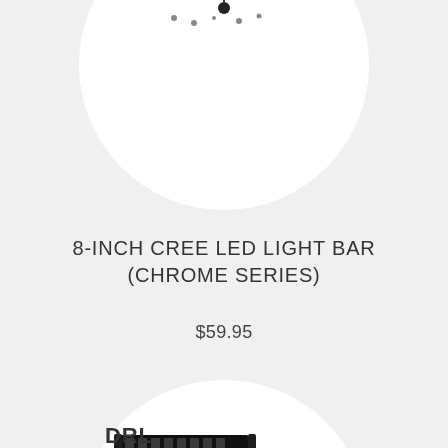[Figure (photo): 8-inch CREE LED light bar product photo (Chrome Series) shown partially at top of page inside a white circle]
8-INCH CREE LED LIGHT BAR (CHROME SERIES)
$59.95
[Figure (photo): DRL light bar kit product photo showing two light bars with wiring harness, partially visible in white circle at bottom, with DRL label]